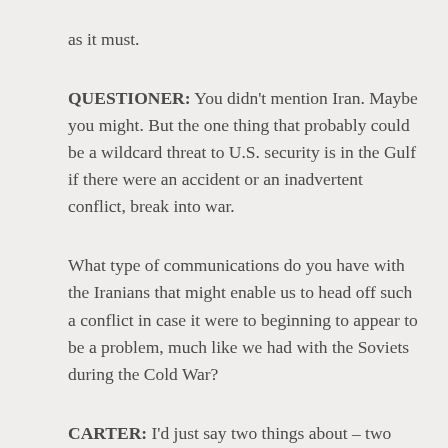as it must.
QUESTIONER: You didn't mention Iran. Maybe you might. But the one thing that probably could be a wildcard threat to U.S. security is in the Gulf if there were an accident or an inadvertent conflict, break into war.
What type of communications do you have with the Iranians that might enable us to head off such a conflict in case it were to beginning to appear to be a problem, much like we had with the Soviets during the Cold War?
CARTER: I'd just say two things about – two things